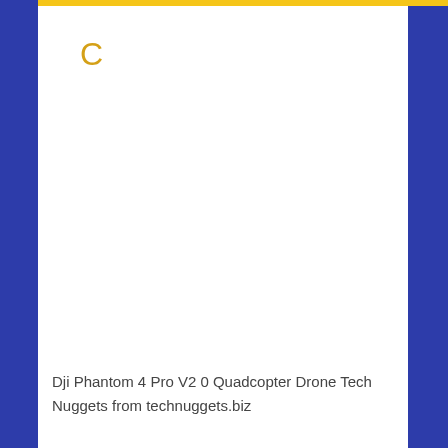[Figure (photo): White rectangular area with a golden 'C' letter at top left, representing a loading or placeholder image area with blue border on left and right sides and a yellow bar at top.]
Dji Phantom 4 Pro V2 0 Quadcopter Drone Tech Nuggets from technuggets.biz